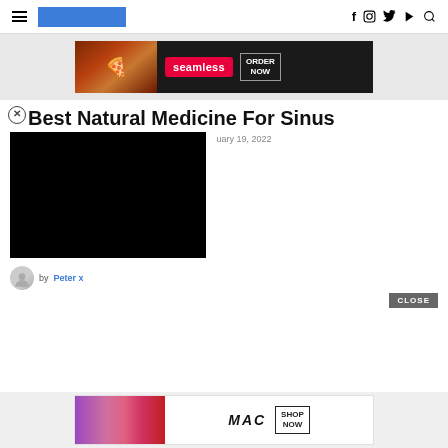Navigation bar with hamburger menu, blue logo bar, and social icons (Facebook, Instagram, Twitter, YouTube, Search)
[Figure (screenshot): Seamless food delivery advertisement banner with pizza image, Seamless logo and ORDER NOW button on dark background]
Best Natural Medicine For Sinus
[Figure (photo): Black rectangle overlay covering part of the article area (ad or video overlay)]
January 19, 2022
by Peter x
[Figure (screenshot): MAC cosmetics advertisement banner with lipstick image, MAC logo and SHOP NOW button]